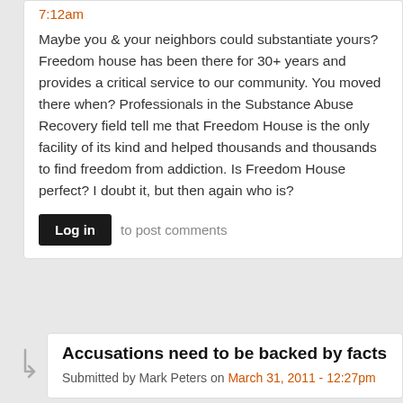7:12am
Maybe you & your neighbors could substantiate yours?  Freedom house has been there for 30+ years and provides a critical service to our community.  You moved there when?  Professionals in the Substance Abuse Recovery field tell me that Freedom House is the only facility of its kind and helped thousands and thousands to find freedom from addiction. Is Freedom House perfect? I doubt it, but then again who is?
Log in to post comments
Accusations need to be backed by facts
Submitted by Mark Peters on March 31, 2011 - 12:27pm